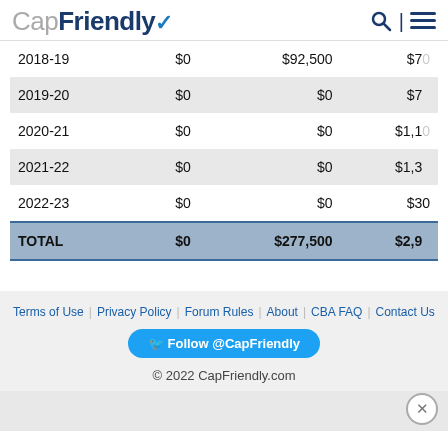CapFriendly
| Year | Col2 | Col3 | Col4 |
| --- | --- | --- | --- |
| 2018-19 | $0 | $92,500 | $7(clipped) |
| 2019-20 | $0 | $0 | $7(clipped) |
| 2020-21 | $0 | $0 | $1,1(clipped) |
| 2021-22 | $0 | $0 | $1,3(clipped) |
| 2022-23 | $0 | $0 | $30(clipped) |
| TOTAL | $0 | $277,500 | $2,9(clipped) |
Terms of Use  Privacy Policy  Forum Rules  About  CBA FAQ  Contact Us  Follow @CapFriendly  © 2022 CapFriendly.com